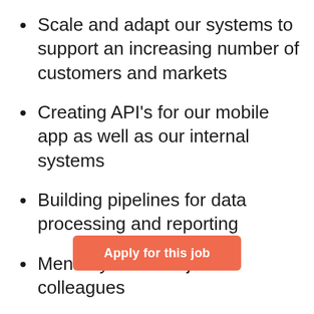Scale and adapt our systems to support an increasing number of customers and markets
Creating API's for our mobile app as well as our internal systems
Building pipelines for data processing and reporting
Mentor your more junior colleagues
Work c[…]thers in our financi[…]cientists, data engineers and business analysts